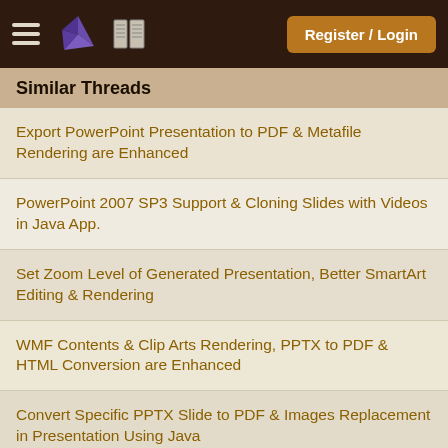Register / Login
Similar Threads
Export PowerPoint Presentation to PDF & Metafile Rendering are Enhanced
PowerPoint 2007 SP3 Support & Cloning Slides with Videos in Java App.
Set Zoom Level of Generated Presentation, Better SmartArt Editing & Rendering
WMF Contents & Clip Arts Rendering, PPTX to PDF & HTML Conversion are Enhanced
Convert Specific PPTX Slide to PDF & Images Replacement in Presentation Using Java
Set Custom Position for Child Nodes in SmartArt & Comments for ODP Format using Java